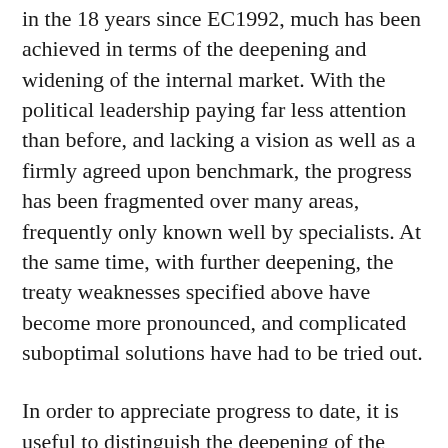in the 18 years since EC1992, much has been achieved in terms of the deepening and widening of the internal market. With the political leadership paying far less attention than before, and lacking a vision as well as a firmly agreed upon benchmark, the progress has been fragmented over many areas, frequently only known well by specialists. At the same time, with further deepening, the treaty weaknesses specified above have become more pronounced, and complicated suboptimal solutions have had to be tried out.
In order to appreciate progress to date, it is useful to distinguish the deepening of the acquis from a widening of scope. Although the line cannot always be sharply drawn, the widening of the scope of the internal market was required even